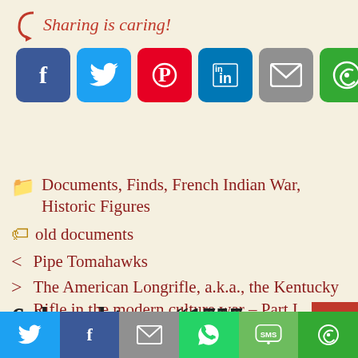[Figure (infographic): Sharing is caring! social sharing buttons: Facebook (blue), Twitter (light blue), Pinterest (red), LinkedIn (blue), Email (gray), More (green)]
Documents, Finds, French Indian War, Historic Figures
old documents
< Pipe Tomahawks
> The American Longrifle, a.k.a., the Kentucky Rifle in the modern culture war – Part I
6 thoughts on “1757 letter from G...
[Figure (infographic): Bottom share bar with Twitter, Facebook, Email, WhatsApp, SMS, More buttons]